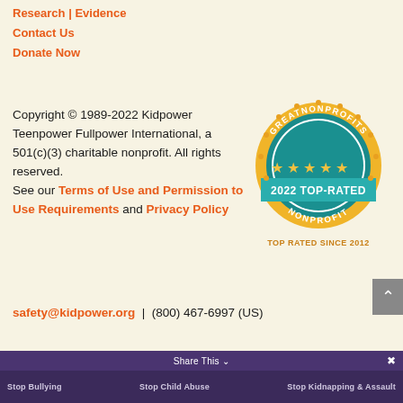Research | Evidence
Contact Us
Donate Now
Copyright © 1989-2022 Kidpower Teenpower Fullpower International, a 501(c)(3) charitable nonprofit. All rights reserved. See our Terms of Use and Permission to Use Requirements and Privacy Policy
[Figure (logo): GreatNonprofits 2022 Top-Rated Nonprofit badge — gold circular seal with teal banner reading '2022 TOP-RATED', stars, and text 'GREATNONPROFITS' and 'NONPROFIT']
TOP RATED SINCE 2012
safety@kidpower.org  |  (800) 467-6997 (US)
Stop Bullying    Stop Child Abuse    Stop Kidnapping & Assault
Share This